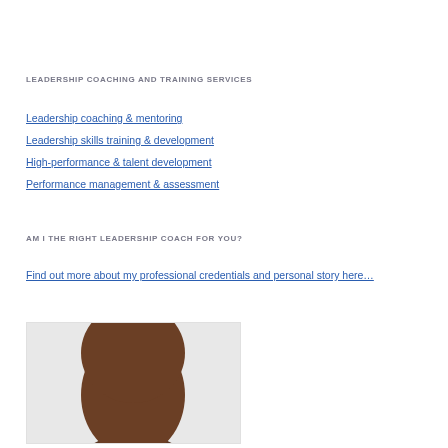LEADERSHIP COACHING AND TRAINING SERVICES
Leadership coaching & mentoring
Leadership skills training & development
High-performance & talent development
Performance management & assessment
AM I THE RIGHT LEADERSHIP COACH FOR YOU?
Find out more about my professional credentials and personal story here…
[Figure (photo): Headshot photo of a dark-skinned man, partially visible from the forehead down, on a white background within a bordered box.]